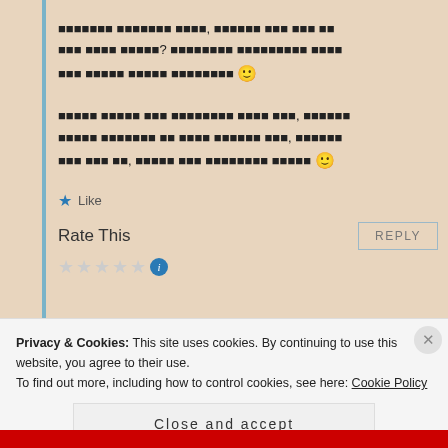[redacted text paragraph 1 with smiley emoji]
[redacted text paragraph 2 with smiley emoji]
★ Like
Rate This
REPLY
Privacy & Cookies: This site uses cookies. By continuing to use this website, you agree to their use. To find out more, including how to control cookies, see here: Cookie Policy
Close and accept